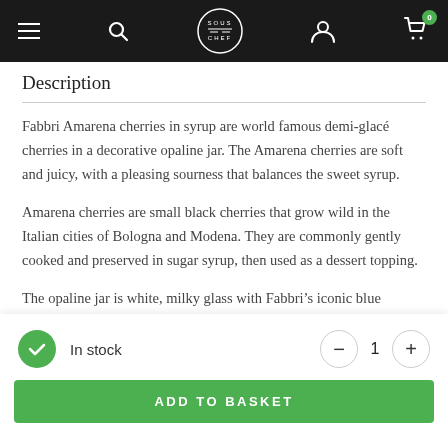Sous Chef navigation bar
Description
Fabbri Amarena cherries in syrup are world famous demi-glacé cherries in a decorative opaline jar. The Amarena cherries are soft and juicy, with a pleasing sourness that balances the sweet syrup.
Amarena cherries are small black cherries that grow wild in the Italian cities of Bologna and Modena. They are commonly gently cooked and preserved in sugar syrup, then used as a dessert topping.
The opaline jar is white, milky glass with Fabbri’s iconic blue
In stock
ADD TO BASKET